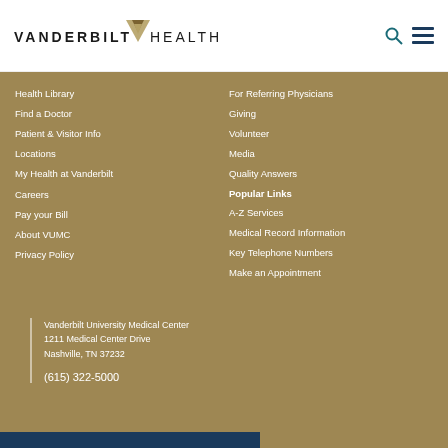[Figure (logo): Vanderbilt Health logo with text and V emblem]
Health Library
Find a Doctor
Patient & Visitor Info
Locations
My Health at Vanderbilt
Careers
Pay your Bill
About VUMC
Privacy Policy
For Referring Physicians
Giving
Volunteer
Media
Quality Answers
Popular Links
A-Z Services
Medical Record Information
Key Telephone Numbers
Make an Appointment
Vanderbilt University Medical Center
1211 Medical Center Drive
Nashville, TN 37232
(615) 322-5000